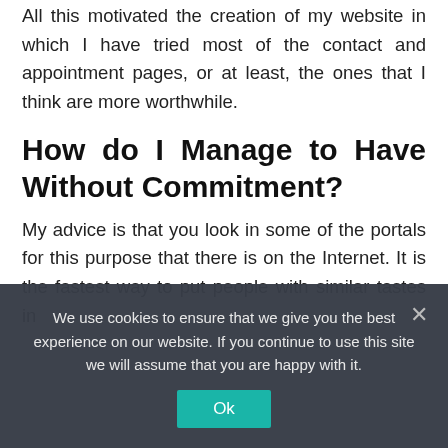All this motivated the creation of my website in which I have tried most of the contact and appointment pages, or at least, the ones that I think are more worthwhile.
How do I Manage to Have Without Commitment?
My advice is that you look in some of the portals for this purpose that there is on the Internet. It is the fastest way to put people with similar tastes in contact and at least if you want to...
We use cookies to ensure that we give you the best experience on our website. If you continue to use this site we will assume that you are happy with it.